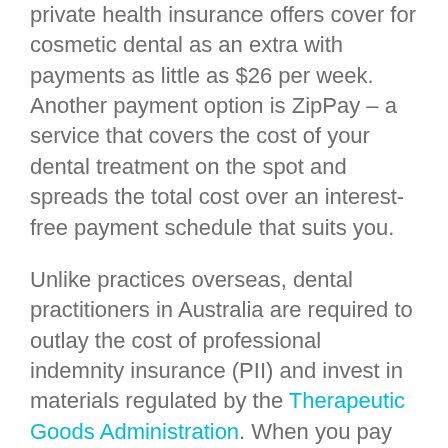private health insurance offers cover for cosmetic dental as an extra with payments as little as $26 per week. Another payment option is ZipPay – a service that covers the cost of your dental treatment on the spot and spreads the total cost over an interest-free payment schedule that suits you.
Unlike practices overseas, dental practitioners in Australia are required to outlay the cost of professional indemnity insurance (PII) and invest in materials regulated by the Therapeutic Goods Administration. When you pay for dental work in Australia, you pay for quality, expertise and peace of mind. If you experience complications, there is